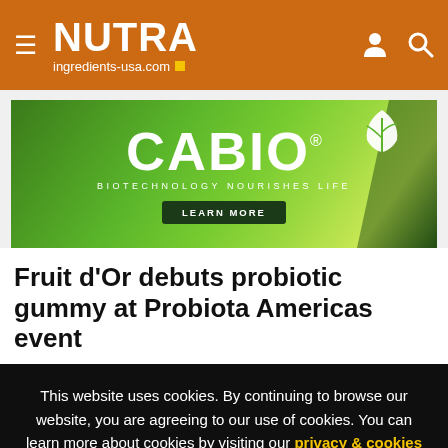NUTRA ingredients-usa.com
[Figure (illustration): CABIO Biotechnology advertisement banner. Green gradient background with CABIO logo, tagline 'BIOTECHNOLOGY NOURISHES LIFE', and a 'LEARN MORE' button.]
Fruit d'Or debuts probiotic gummy at Probiota Americas event
This website uses cookies. By continuing to browse our website, you are agreeing to our use of cookies. You can learn more about cookies by visiting our privacy & cookies policy page.